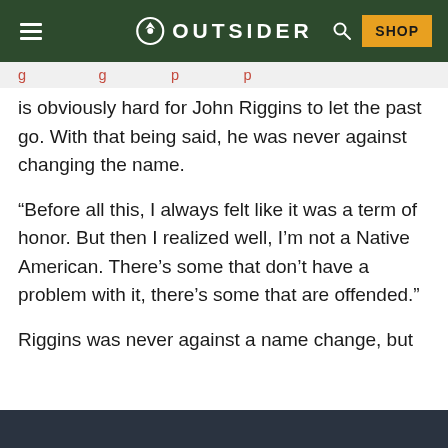OUTSIDER
is obviously hard for John Riggins to let the past go. With that being said, he was never against changing the name.
“Before all this, I always felt like it was a term of honor. But then I realized well, I’m not a Native American. There’s some that don’t have a problem with it, there’s some that are offended.”
Riggins was never against a name change, but